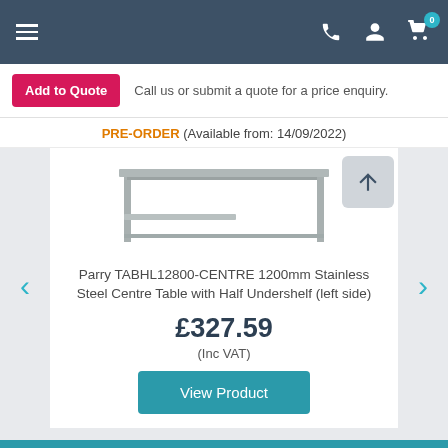[Figure (screenshot): Navigation bar with hamburger menu icon on the left, phone, user, and shopping cart icons on the right on a dark blue-grey background]
Add to Quote  Call us or submit a quote for a price enquiry.
PRE-ORDER (Available from: 14/09/2022)
[Figure (photo): Parry TABHL12800-CENTRE 1200mm Stainless Steel Centre Table with Half Undershelf (left side) — product image]
Parry TABHL12800-CENTRE 1200mm Stainless Steel Centre Table with Half Undershelf (left side)
£327.59
(Inc VAT)
View Product